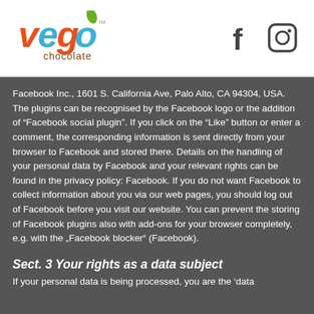[Figure (logo): Vego chocolate logo with colorful text]
[Figure (logo): Facebook and Instagram social media icons]
Facebook Inc., 1601 S. California Ave, Palo Alto, CA 94304, USA. The plugins can be recognised by the Facebook logo or the addition of “Facebook social plugin”. If you click on the “Like” button or enter a comment, the corresponding information is sent directly from your browser to Facebook and stored there. Details on the handling of your personal data by Facebook and your relevant rights can be found in the privacy policy: Facebook. If you do not want Facebook to collect information about you via our web pages, you should log out of Facebook before you visit our website. You can prevent the storing of Facebook plugins also with add-ons for your browser completely, e.g. with the „Facebook blocker“ (Facebook).
Sect. 3 Your rights as a data subject
If your personal data is being processed, you are the ‘data